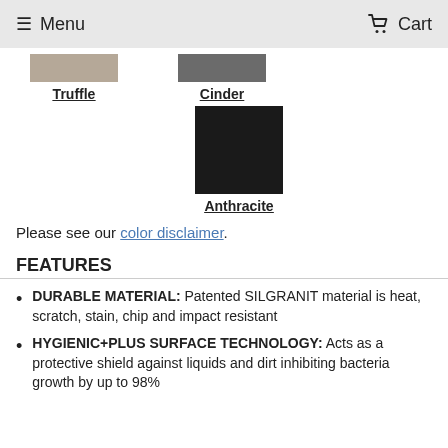≡ Menu   Cart
[Figure (illustration): Color swatches for Truffle (tan/beige) and Cinder (dark gray) side by side, each a rectangular swatch above a bold underlined label]
[Figure (illustration): Color swatch for Anthracite (near black), large square swatch above bold underlined label]
Please see our color disclaimer.
FEATURES
DURABLE MATERIAL: Patented SILGRANIT material is heat, scratch, stain, chip and impact resistant
HYGIENIC+PLUS SURFACE TECHNOLOGY: Acts as a protective shield against liquids and dirt inhibiting bacteria growth by up to 98%